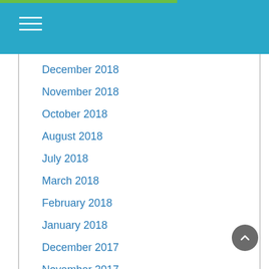December 2018
November 2018
October 2018
August 2018
July 2018
March 2018
February 2018
January 2018
December 2017
November 2017
October 2017